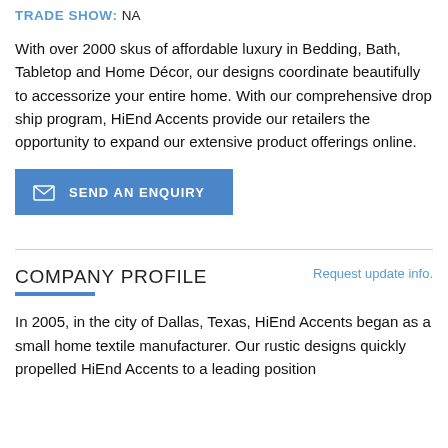TRADE SHOW: NA
With over 2000 skus of affordable luxury in Bedding, Bath, Tabletop and Home Décor, our designs coordinate beautifully to accessorize your entire home. With our comprehensive drop ship program, HiEnd Accents provide our retailers the opportunity to expand our extensive product offerings online.
[Figure (other): Blue button with envelope icon labeled SEND AN ENQUIRY]
COMPANY PROFILE
Request update info.
In 2005, in the city of Dallas, Texas, HiEnd Accents began as a small home textile manufacturer.  Our rustic designs quickly propelled HiEnd Accents to a leading position